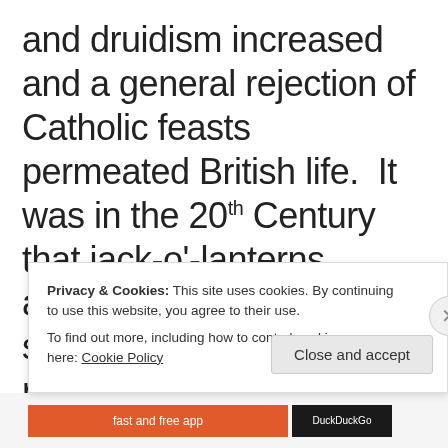and druidism increased and a general rejection of Catholic feasts permeated British life. It was in the 20th Century that jack-o'-lanterns appeared, an effort to scare off evil spirits roaming through the night, building on carved gourds and vegetables seen in Ireland and
Privacy & Cookies: This site uses cookies. By continuing to use this website, you agree to their use. To find out more, including how to control cookies, see here: Cookie Policy
Close and accept